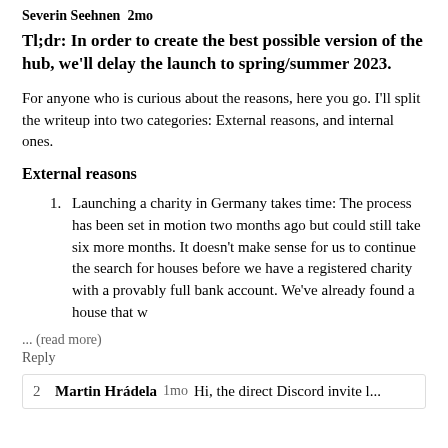Severin Seehnen · 2mo
Tl;dr: In order to create the best possible version of the hub, we'll delay the launch to spring/summer 2023.
For anyone who is curious about the reasons, here you go. I'll split the writeup into two categories: External reasons, and internal ones.
External reasons
Launching a charity in Germany takes time: The process has been set in motion two months ago but could still take six more months. It doesn't make sense for us to continue the search for houses before we have a registered charity with a provably full bank account. We've already found a house that w
... (read more)
Reply
2  Martin Hrádela  1mo  Hi, the direct Discord invite l...